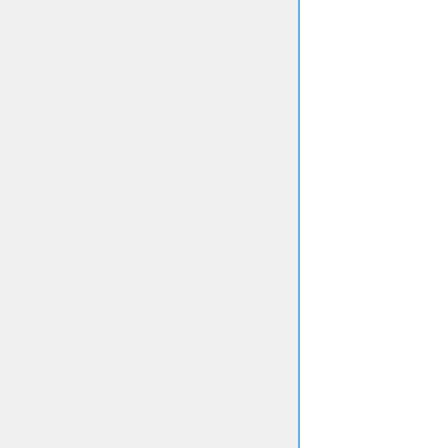97th Cong., 2d Sess. (March 1, April 1, 1982).
Equal Access to Justice, Hearings Before the Subcomm.
Legislation Relating to Compensation COLA, Court of Veterans Appeals and Other Matters, Hearings Before the S. Comm.